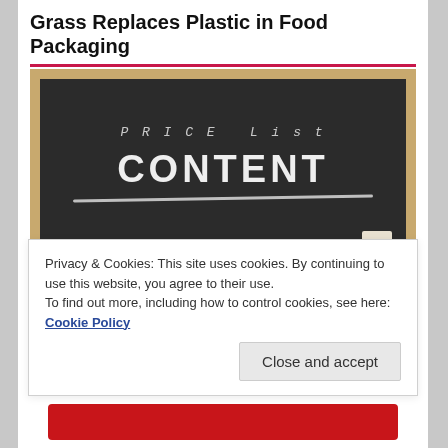Grass Replaces Plastic in Food Packaging
[Figure (illustration): A chalkboard image with text 'CONTENT' written in chalk, with a chalk underline beneath it, and partially visible text at the top. The chalkboard has a wooden frame and an eraser at the bottom right.]
Privacy & Cookies: This site uses cookies. By continuing to use this website, you agree to their use.
To find out more, including how to control cookies, see here: Cookie Policy
Close and accept